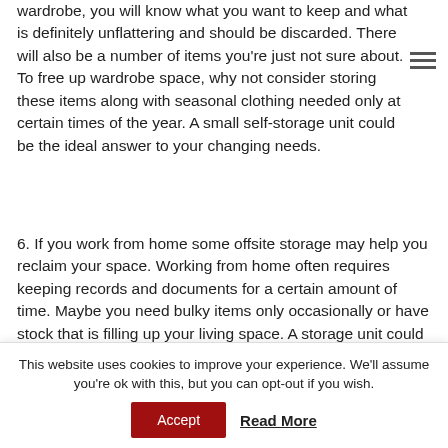wardrobe, you will know what you want to keep and what is definitely unflattering and should be discarded. There will also be a number of items you're just not sure about. To free up wardrobe space, why not consider storing these items along with seasonal clothing needed only at certain times of the year. A small self-storage unit could be the ideal answer to your changing needs.
6. If you work from home some offsite storage may help you reclaim your space. Working from home often requires keeping records and documents for a certain amount of time. Maybe you need bulky items only occasionally or have stock that is filling up your living space. A storage unit could provide the ideal cost effective way to store these items and you can easily
This website uses cookies to improve your experience. We'll assume you're ok with this, but you can opt-out if you wish.